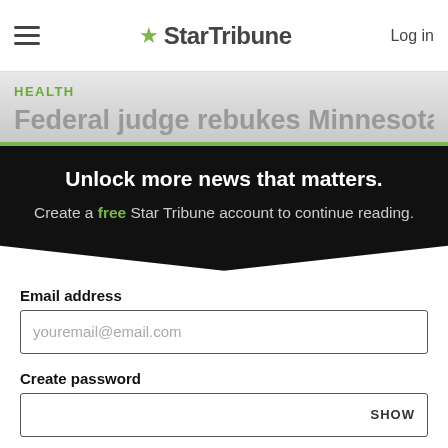☰  ★StarTribune  Log in
HEALTH
Federal judge rebukes Minnesota
Unlock more news that matters. Create a free Star Tribune account to continue reading.
Email address
youremail@email.com
Create password
SHOW
Create an account
By continuing you agree to the Terms of Service and